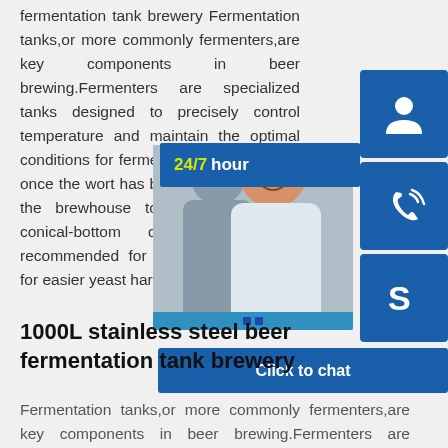fermentation tank brewery Fermentation tanks,or more commonly fermenters,are key components in beer brewing.Fermenters are specialized tanks designed to precisely control temperature and maintain the optimal conditions for fermentation,which occurs once the wort has been transferred from the brewhouse to the fermenter; a conical-bottom design is highly recommended for fermenters, allowing for easier yeast harvesting.
[Figure (screenshot): Customer service widget overlay showing a photo of two people on headsets, 24/7 hour banner in blue with yellow text, three blue icon buttons (headset/customer service, phone, Skype), and a 'Click to chat' blue banner at the bottom.]
1000L stainless steel beer fermentation tank brewery
Fermentation tanks,or more commonly fermenters,are key components in beer brewing.Fermenters are specialized tanks designed to precisely control temperature and maintain the optimal conditions for fermentation,which occurs once the wort has been transferred from the brewhouse to the fermenter; a conical-bottom design is highly recommended for fermenters